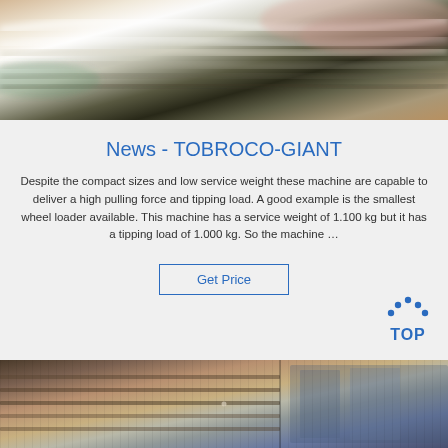[Figure (photo): Abstract blurred metallic streaks photo in gold, silver and dark tones, used as a decorative header image.]
News - TOBROCO-GIANT
Despite the compact sizes and low service weight these machine are capable to deliver a high pulling force and tipping load. A good example is the smallest wheel loader available. This machine has a service weight of 1.100 kg but it has a tipping load of 1.000 kg. So the machine …
Get Price
[Figure (logo): TOP logo with blue house/mountain dots icon and blue text 'TOP' below.]
[Figure (photo): Bottom photo showing industrial machinery components in brown, grey and blue tones.]